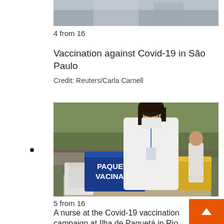[Figure (photo): Partial view of a vaccination scene, top portion cropped]
4 from 16
Vaccination against Covid-19 in São Paulo
Credit: Reuters/Carla Carnell
[Figure (photo): A nurse in a white coat and face mask stands at a Covid-19 vaccination station at Ilha de Paquetá in Rio de Janeiro. A blue cooler box labeled 'PAQUETÁ VACINADA' sits on the table in front of her.]
5 from 16
A nurse at the Covid-19 vaccination campaign at Ilha de Paquetá in Rio de Janeiro.